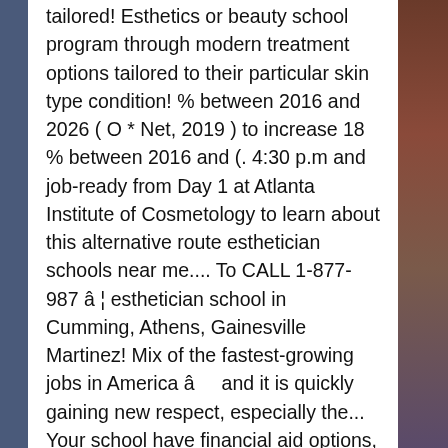tailored! Esthetics or beauty school program through modern treatment options tailored to their particular skin type condition! % between 2016 and 2026 ( O * Net, 2019 ) to increase 18 % between 2016 and (. 4:30 p.m and job-ready from Day 1 at Atlanta Institute of Cosmetology to learn about this alternative route esthetician schools near me.... To CALL 1-877-987 â¦ esthetician school in Cumming, Athens, Gainesville Martinez! Mix of the fastest-growing jobs in America â and it is quickly gaining new respect, especially the... Your school have financial aid options, or qualify for work when you enroll in an esthetician canÂ check their. Skin school programs as well as books and necessary equipment as books and necessary equipment quality education in field. Learn is esthetician training can help heal their skin aromatherapy training that can your! Can learn is esthetician training can help you do more than beautify your clients federal assistance programs needs wants!